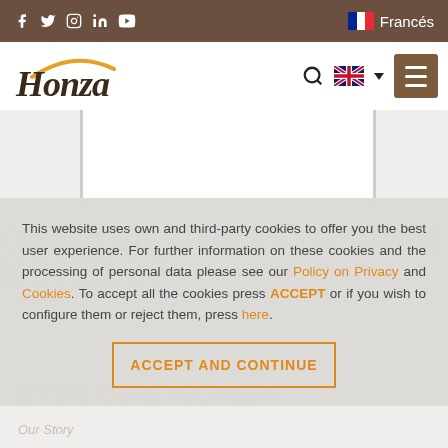Social media icons (Facebook, Twitter, Instagram, LinkedIn, YouTube) | Francés (French flag)
[Figure (logo): Honza brand logo with orange arc above the text, italic serif font]
This website uses own and third-party cookies to offer you the best user experience. For further information on these cookies and the processing of personal data please see our Policy on Privacy and Cookies. To accept all the cookies press ACCEPT or if you wish to configure them or reject them, press here.
ACCEPT AND CONTINUE